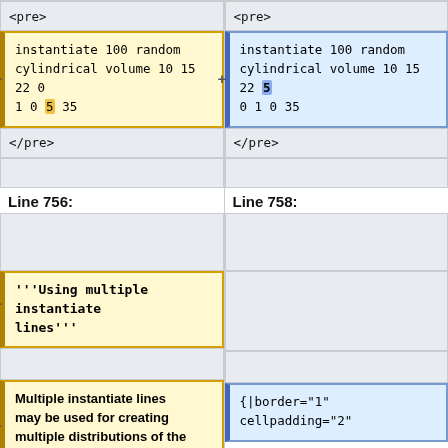<pre>
<pre>
instantiate 100 random cylindrical volume 10 15 22 0 1 0 5 35
instantiate 100 random cylindrical volume 10 15 22 5 0 1 0 35
</pre>
</pre>
Line 756:
Line 758:
'''Using multiple instantiate lines'''
{|border="1" cellpadding="2"
Multiple instantiate lines may be used for creating multiple distributions of the same molecule (or coordinator) type at